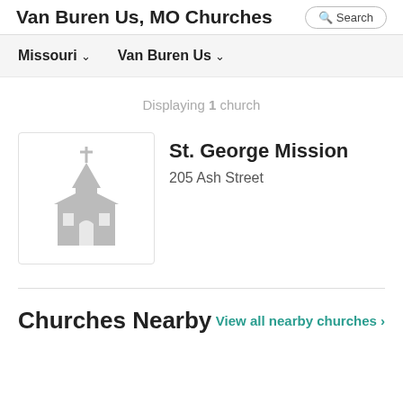Van Buren Us, MO Churches
Missouri ∨   Van Buren Us ∨
Displaying 1 church
[Figure (illustration): Gray church building icon with steeple]
St. George Mission
205 Ash Street
Churches Nearby
View all nearby churches >